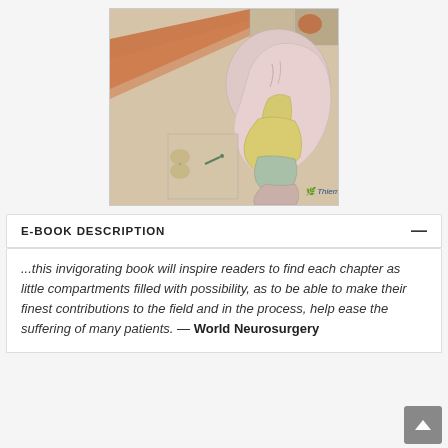[Figure (illustration): Medical/anatomical illustration of a human skull and facial anatomy, with muscle diagrams and spine insets. Published by Thieme.]
E-BOOK DESCRIPTION
...this invigorating book will inspire readers to find each chapter as little compartments filled with possibility, as to be able to make their finest contributions to the field and in the process, help ease the suffering of many patients. — World Neurosurgery